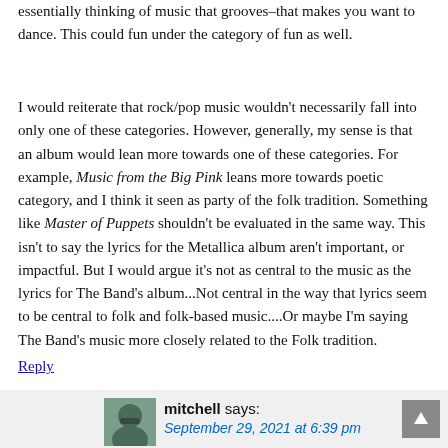essentially thinking of music that grooves–that makes you want to dance. This could fun under the category of fun as well.
I would reiterate that rock/pop music wouldn't necessarily fall into only one of these categories. However, generally, my sense is that an album would lean more towards one of these categories. For example, Music from the Big Pink leans more towards poetic category, and I think it seen as party of the folk tradition. Something like Master of Puppets shouldn't be evaluated in the same way. This isn't to say the lyrics for the Metallica album aren't important, or impactful. But I would argue it's not as central to the music as the lyrics for The Band's album...Not central in the way that lyrics seem to be central to folk and folk-based music....Or maybe I'm saying The Band's music more closely related to the Folk tradition.
Reply
mitchell says: September 29, 2021 at 6:39 pm